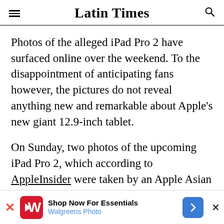Latin Times
Photos of the alleged iPad Pro 2 have surfaced online over the weekend. To the disappointment of anticipating fans however, the pictures do not reveal anything new and remarkable about Apple’s new giant 12.9-inch tablet.
On Sunday, two photos of the upcoming iPad Pro 2, which according to AppleInsider were taken by an Apple Asian supply chain worker